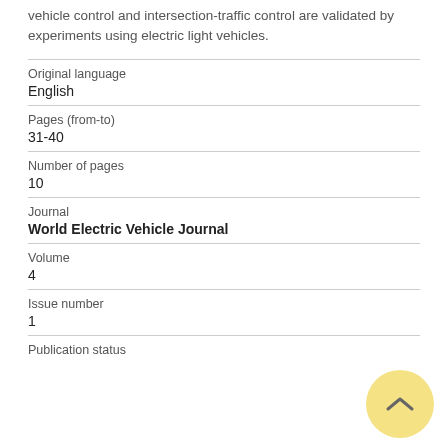vehicle control and intersection-traffic control are validated by experiments using electric light vehicles.
| Field | Value |
| --- | --- |
| Original language | English |
| Pages (from-to) | 31-40 |
| Number of pages | 10 |
| Journal | World Electric Vehicle Journal |
| Volume | 4 |
| Issue number | 1 |
| Publication status |  |